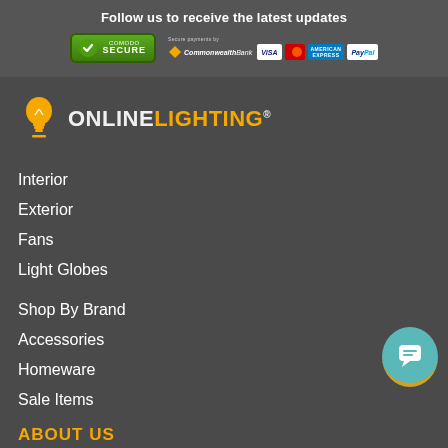Follow us to receive the latest updates
[Figure (logo): Comodo Secure badge and payment icons (Commonwealth Bank, Visa, Mastercard, American Express, PayPal)]
[Figure (logo): Online Lighting logo with lightbulb icon]
Interior
Exterior
Fans
Light Globes
Shop By Brand
Accessories
Homeware
Sale Items
ABOUT US